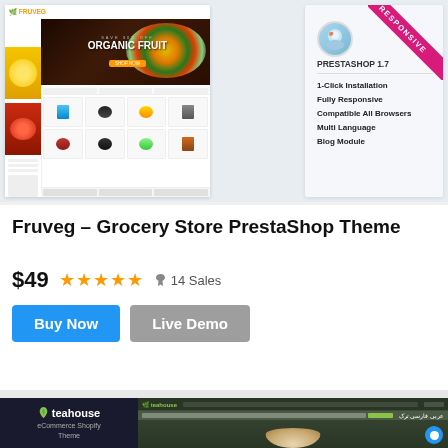[Figure (screenshot): Fruveg grocery store PrestaShop theme screenshot showing a website mockup with hero section displaying 'ORGANIC FRUIT', product listings, sidebar, and a right panel showing PrestaShop 1.7 features with RESPONSIVE badge]
Fruveg – Grocery Store PrestaShop Theme
$49 ★★★★★ 14 Sales
Buy Now  Live Demo
[Figure (screenshot): Teahouse eCommerce Shopify Theme preview showing dark themed website with teahouse logo on left and website mockup on right with a chat bubble]